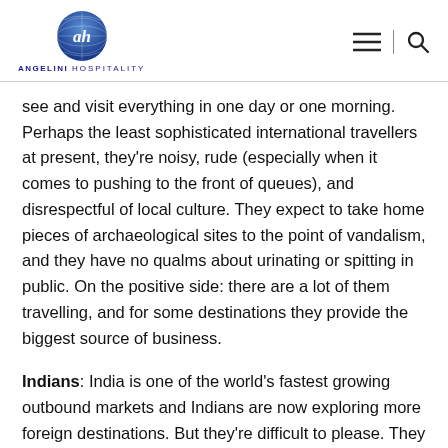ANGELINI HOSPITALITY
see and visit everything in one day or one morning. Perhaps the least sophisticated international travellers at present, they're noisy, rude (especially when it comes to pushing to the front of queues), and disrespectful of local culture. They expect to take home pieces of archaeological sites to the point of vandalism, and they have no qualms about urinating or spitting in public. On the positive side: there are a lot of them travelling, and for some destinations they provide the biggest source of business.
Indians: India is one of the world's fastest growing outbound markets and Indians are now exploring more foreign destinations. But they're difficult to please. They like to bargain for everything and are always looking for freebies. They are stingy tippers, and are never happy when it comes to food. They could soon be ranked among the worst-behaved